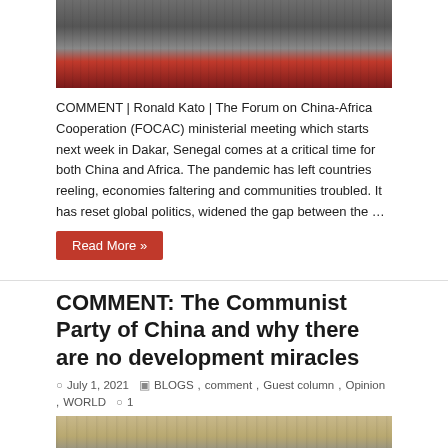[Figure (photo): Group photo of many officials/dignitaries standing on red carpet steps]
COMMENT | Ronald Kato | The Forum on China-Africa Cooperation (FOCAC) ministerial meeting which starts next week in Dakar, Senegal comes at a critical time for both China and Africa. The pandemic has left countries reeling, economies faltering and communities troubled. It has reset global politics, widened the gap between the …
Read More »
COMMENT: The Communist Party of China and why there are no development miracles
July 1, 2021  BLOGS, comment, Guest column, Opinion, WORLD  1
[Figure (photo): Photo showing a speaker at a podium and a group of officials in formal attire]